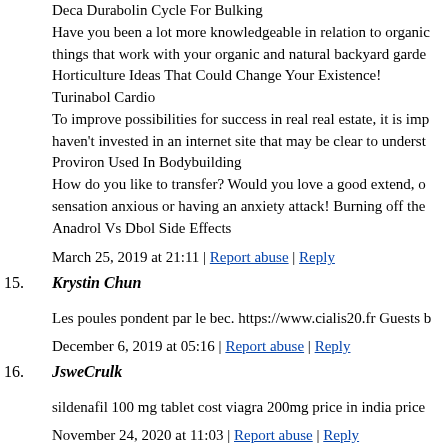Deca Durabolin Cycle For Bulking
Have you been a lot more knowledgeable in relation to organic things that work with your organic and natural backyard garde...
Horticulture Ideas That Could Change Your Existence!
Turinabol Cardio
To improve possibilities for success in real real estate, it is imp... haven't invested in an internet site that may be clear to underst...
Proviron Used In Bodybuilding
How do you like to transfer? Would you love a good extend, o... sensation anxious or having an anxiety attack! Burning off the...
Anadrol Vs Dbol Side Effects
March 25, 2019 at 21:11 | Report abuse | Reply
15. Krystin Chun
Les poules pondent par le bec. https://www.cialis20.fr Guests b...
December 6, 2019 at 05:16 | Report abuse | Reply
16. JsweCrulk
sildenafil 100 mg tablet cost viagra 200mg price in india price...
November 24, 2020 at 11:03 | Report abuse | Reply
17. KbrgMile
viagra india 100mg online sildenafil canada buy viagra pharma...